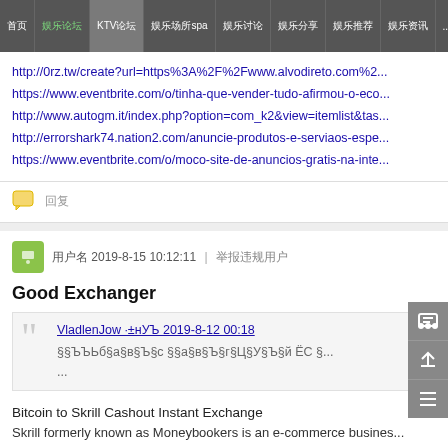首页 | 娱乐论坛 | KTV论坛 | 娱乐场所spa | 娱乐讨论 | 娱乐分享 | 娱乐推荐 | 娱乐资讯 | ...
http://0rz.tw/create?url=https%3A%2F%2Fwww.alvodireto.com%2...
https://www.eventbrite.com/o/tinha-que-vender-tudo-afirmou-o-eco...
http://www.autogm.it/index.php?option=com_k2&view=itemlist&tas...
http://errorshark74.nation2.com/anuncie-produtos-e-serviaos-espe...
https://www.eventbrite.com/o/moco-site-de-anuncios-gratis-na-inte...
回复
用户名 2019-8-15 10:12:11 | 举报违规用户
Good Exchanger
VladlenJow ·±нУЪ 2019-8-12 00:18
§§ЪЪЬб§а§в§Ъ§с §§а§в§Ъ§г§Ц§У§Ъ§й ЁС §...
...
Bitcoin to Skrill Cashout Instant Exchange
Skrill formerly known as Moneybookers is an e-commerce busines... low-cost international money transfers. It is a registered United Ki...